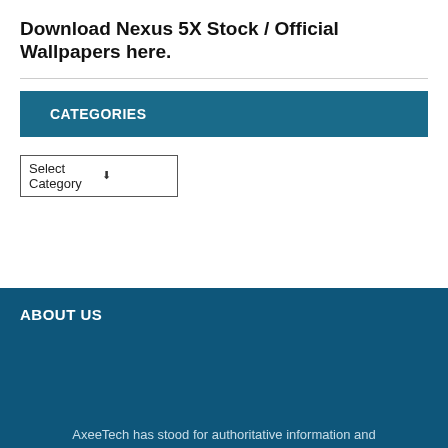Download Nexus 5X Stock / Official Wallpapers here.
CATEGORIES
Select Category
ABOUT US
AxeeTech has stood for authoritative information and